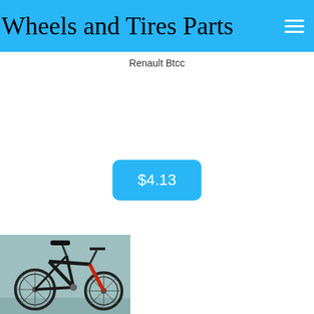Wheels and Tires Parts
Renault Btcc
$4.13
[Figure (photo): A black mountain/hybrid bicycle leaning against a light teal/green wall, showing the frame, handlebars, seat, and front fork with a red component.]